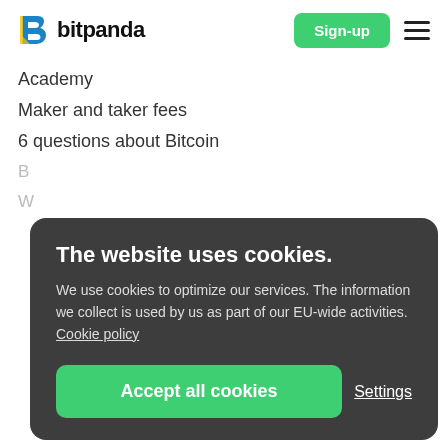[Figure (logo): Bitpanda logo with blue/yellow B icon and 'bitpanda' text in bold]
[Figure (other): Green 'Sign-up' button and hamburger menu icon in header]
Academy
Maker and taker fees
6 questions about Bitcoin
The website uses cookies.
We use cookies to optimize our services. The information we collect is used by us as part of our EU-wide activities. Cookie policy
Accept all cookies
Settings